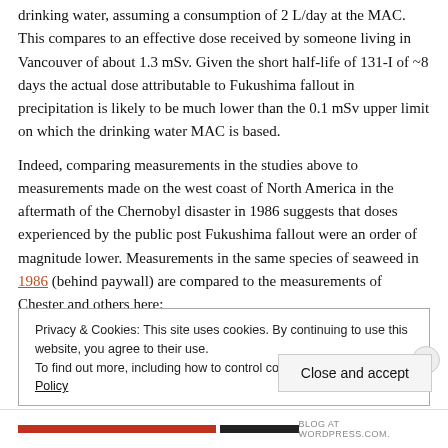drinking water, assuming a consumption of 2 L/day at the MAC. This compares to an effective dose received by someone living in Vancouver of about 1.3 mSv. Given the short half-life of 131-I of ~8 days the actual dose attributable to Fukushima fallout in precipitation is likely to be much lower than the 0.1 mSv upper limit on which the drinking water MAC is based.
Indeed, comparing measurements in the studies above to measurements made on the west coast of North America in the aftermath of the Chernobyl disaster in 1986 suggests that doses experienced by the public post Fukushima fallout were an order of magnitude lower. Measurements in the same species of seaweed in 1986 (behind paywall) are compared to the measurements of Chester and others here:
Privacy & Cookies: This site uses cookies. By continuing to use this website, you agree to their use.
To find out more, including how to control cookies, see here: Cookie Policy
Close and accept